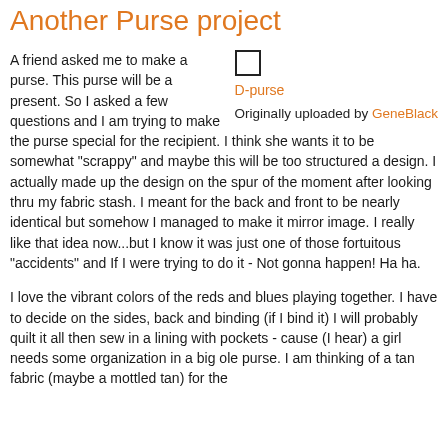Another Purse project
A friend asked me to make a purse. This purse will be a present. So I asked a few questions and I am trying to make the purse special for the recipient. I think she wants it to be somewhat "scrappy" and maybe this will be too structured a design. I actually made up the design on the spur of the moment after looking thru my fabric stash. I meant for the back and front to be nearly identical but somehow I managed to make it mirror image. I really like that idea now...but I know it was just one of those fortuitous "accidents" and If I were trying to do it - Not gonna happen! Ha ha.
[Figure (other): Checkbox (empty square) with label 'D-purse' below it, and 'Originally uploaded by GeneBlack' text]
I love the vibrant colors of the reds and blues playing together. I have to decide on the sides, back and binding (if I bind it) I will probably quilt it all then sew in a lining with pockets - cause (I hear) a girl needs some organization in a big ole purse.
I am thinking of a tan fabric (maybe a mottled tan) for the